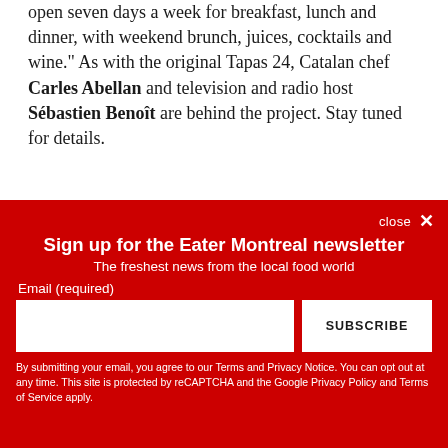open seven days a week for breakfast, lunch and dinner, with weekend brunch, juices, cocktails and wine." As with the original Tapas 24, Catalan chef Carles Abellan and television and radio host Sébastien Benoît are behind the project. Stay tuned for details.
close ✕
Sign up for the Eater Montreal newsletter
The freshest news from the local food world
Email (required)
SUBSCRIBE
By submitting your email, you agree to our Terms and Privacy Notice. You can opt out at any time. This site is protected by reCAPTCHA and the Google Privacy Policy and Terms of Service apply.